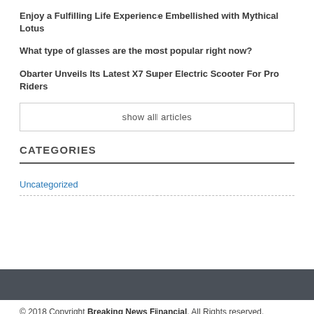Enjoy a Fulfilling Life Experience Embellished with Mythical Lotus
What type of glasses are the most popular right now?
Obarter Unveils Its Latest X7 Super Electric Scooter For Pro Riders
show all articles
CATEGORIES
Uncategorized
© 2018 Copyright Breaking News Financial. All Rights reserved.